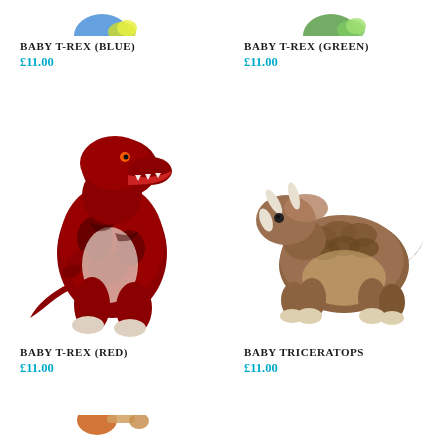[Figure (photo): Partial top of blue T-Rex plush toy, cropped at top of page]
[Figure (photo): Partial top of green T-Rex plush toy, cropped at top of page]
BABY T-REX (BLUE)
£11.00
BABY T-REX (GREEN)
£11.00
[Figure (photo): Red and black plush Baby T-Rex dinosaur toy, standing upright with open mouth]
[Figure (photo): Brown plush Baby Triceratops dinosaur toy with white horns]
BABY T-REX (RED)
£11.00
BABY TRICERATOPS
£11.00
[Figure (photo): Partial bottom view of another plush dinosaur toy, cropped at bottom of page]